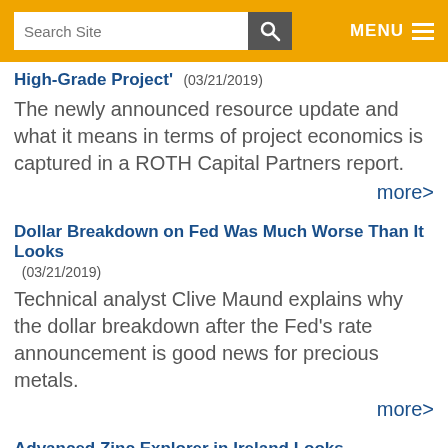Search Site | MENU
High-Grade Project' (03/21/2019)
The newly announced resource update and what it means in terms of project economics is captured in a ROTH Capital Partners report.
more>
Dollar Breakdown on Fed Was Much Worse Than It Looks (03/21/2019)
Technical analyst Clive Maund explains why the dollar breakdown after the Fed's rate announcement is good news for precious metals.
more>
Advanced Zinc Explorer in Ireland Looks 'Attractive' (03/21/2019)